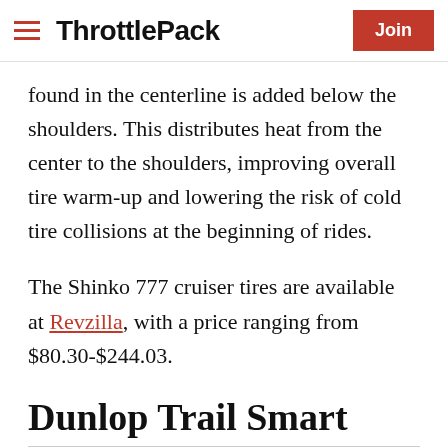ThrottlePack | Join
found in the centerline is added below the shoulders. This distributes heat from the center to the shoulders, improving overall tire warm-up and lowering the risk of cold tire collisions at the beginning of rides.
The Shinko 777 cruiser tires are available at Revzilla, with a price ranging from $80.30-$244.03.
Dunlop Trail Smart
Dunlop released the Trail Smart ADV tire in 2016, which is 90...